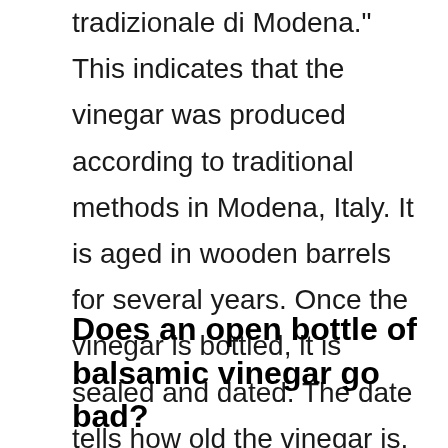tradizionale di Modena." This indicates that the vinegar was produced according to traditional methods in Modena, Italy. It is aged in wooden barrels for several years. Once the vinegar is bottled, it is sealed and dated. The date tells how old the vinegar is. The older the vinegar, the better it tastes.
Does an open bottle of balsamic vinegar go bad?